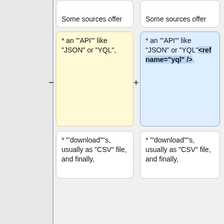Some sources offer
Some sources offer
* an "'API'" like "JSON" or "YQL",
* an "'API'" like "JSON" or "YQL"<ref name="yql" />.
* "'download'"'s, usually as "CSV" file, and finally,
* "'download'"'s, usually as "CSV" file, and finally,
* quite literally by extracting information from the web page itself.
* quite literally by extracting information from the web page itself.
As these sources change frequently, we advise you to keep
As these sources change frequently, we advise you to keep [[#qnc-fq-